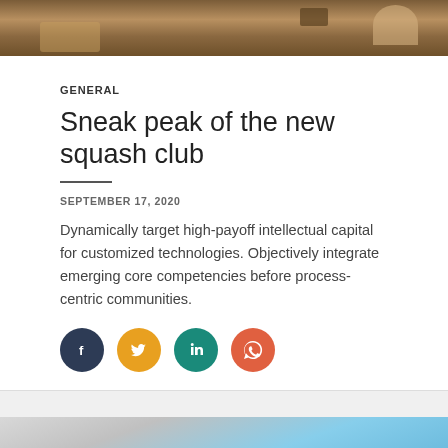[Figure (photo): Top portion of a photo showing wicker chairs and furniture in an indoor setting]
GENERAL
Sneak peak of the new squash club
SEPTEMBER 17, 2020
Dynamically target high-payoff intellectual capital for customized technologies. Objectively integrate emerging core competencies before process-centric communities.
[Figure (infographic): Social media share icons: Facebook (dark blue), Twitter (yellow/orange), LinkedIn (teal), WhatsApp (orange-red)]
[Figure (photo): Bottom portion of a photo showing a blue sky and what appears to be a squash court or outdoor scene with a red triangular shape]